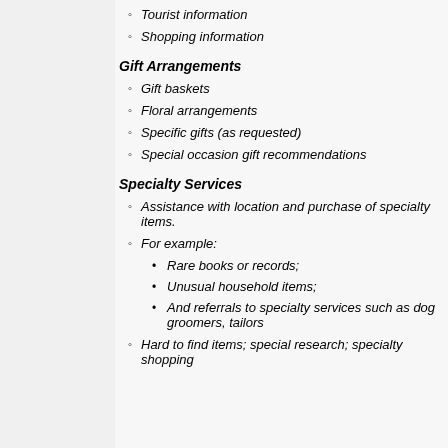Tourist information
Shopping information
Gift Arrangements
Gift baskets
Floral arrangements
Specific gifts (as requested)
Special occasion gift recommendations
Specialty Services
Assistance with location and purchase of specialty items.
For example:
Rare books or records;
Unusual household items;
And referrals to specialty services such as dog groomers, tailors
Hard to find items; special research; specialty shopping